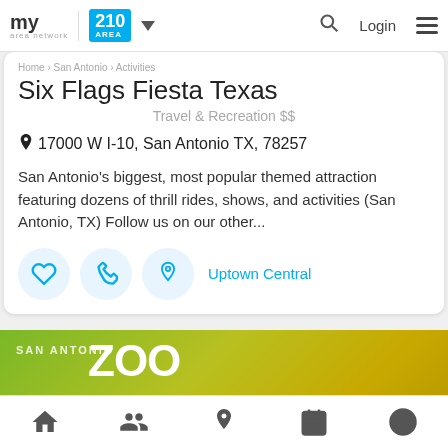my area network | 210 AREA
Six Flags Fiesta Texas
Travel & Recreation $$
17000 W I-10, San Antonio TX, 78257
San Antonio's biggest, most popular themed attraction featuring dozens of thrill rides, shows, and activities (San Antonio, TX) Follow us on our other...
Uptown Central
[Figure (photo): San Antonio Zoo Member Free banner with green/yellow gradient background]
Home | People | Location | Calendar | Profile navigation icons